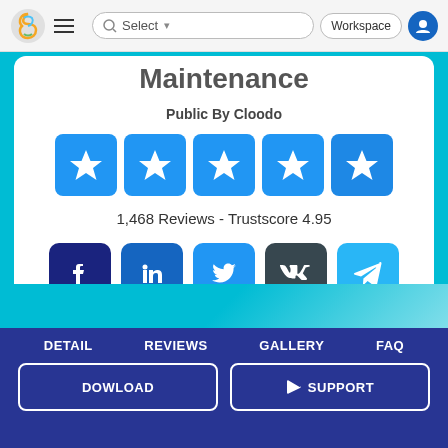[Figure (screenshot): Top navigation bar with Cloodo logo, hamburger menu, search bar with Select dropdown, Workspace button, and user avatar icon]
Professional Website Maintenance
Public By Cloodo
[Figure (infographic): Five blue star rating boxes with white stars]
1,468 Reviews - Trustscore 4.95
[Figure (infographic): Social media buttons: Facebook, LinkedIn, Twitter, VK, Telegram]
DETAIL   REVIEWS   GALLERY   FAQ
DOWLOAD   SUPPORT